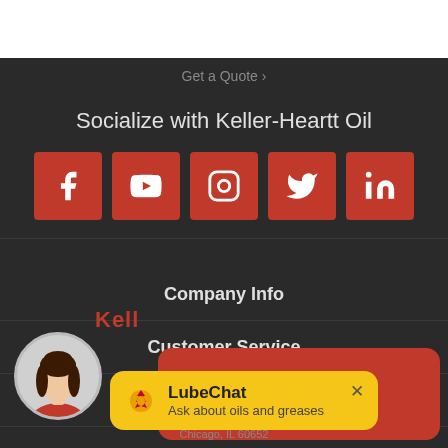Get a Quote ›
Socialize with Keller-Heartt Oil
[Figure (screenshot): Five red square social media icons: Facebook, YouTube, Instagram, Twitter, LinkedIn]
Company Info
Customer Service
My Account
[Figure (screenshot): Keller Heartt Live Chat popup (red rounded rectangle) with text 'Keller Heartt Live Chat']
[Figure (illustration): Female avatar in a circle with dark hair and red top]
[Figure (screenshot): LubeChat tooltip in yellow with Shell logo, title 'LubeChat', subtitle 'Ask about oils and greases', and an X close button]
Chicago, IL 60652